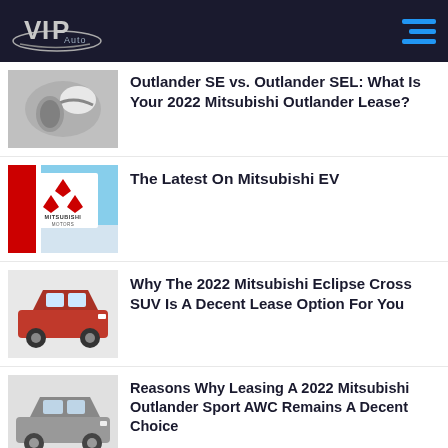VIP Auto
Outlander SE vs. Outlander SEL: What Is Your 2022 Mitsubishi Outlander Lease?
The Latest On Mitsubishi EV
Why The 2022 Mitsubishi Eclipse Cross SUV Is A Decent Lease Option For You
Reasons Why Leasing A 2022 Mitsubishi Outlander Sport AWC Remains A Decent Choice
Why You Should Consider Leasing The